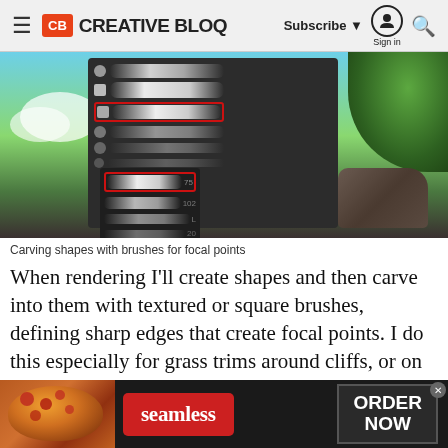CB CREATIVE BLOQ | Subscribe | Sign in
[Figure (screenshot): Screenshot of a digital painting software brush panel overlaid on a fantasy landscape digital artwork showing sky, grass, and rocks. The brush panel shows multiple brush stroke previews with some highlighted in red boxes.]
Carving shapes with brushes for focal points
When rendering I'll create shapes and then carve into them with textured or square brushes, defining sharp edges that create focal points. I do this especially for grass trims around cliffs, or on craggy rock formations. Because of this I rarely use lots of layers.
[Figure (screenshot): Advertisement banner for Seamless food delivery showing pizza and 'ORDER NOW' call to action on dark background.]